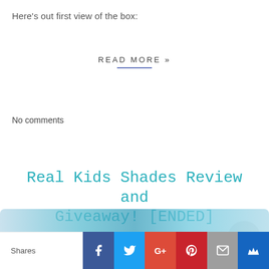Here's out first view of the box:
READ MORE »
No comments
Real Kids Shades Review and Giveaway! [ENDED]
Monday, August 5, 2013
[Figure (screenshot): Social share bar with Facebook, Twitter, Google+, Pinterest, Email, and crown/bookmark icons]
Shares